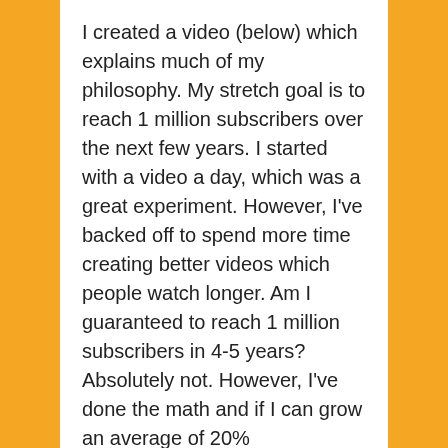I created a video (below) which explains much of my philosophy. My stretch goal is to reach 1 million subscribers over the next few years. I started with a video a day, which was a great experiment. However, I've backed off to spend more time creating better videos which people watch longer. Am I guaranteed to reach 1 million subscribers in 4-5 years? Absolutely not. However, I've done the math and if I can grow an average of 20% compounded per month, I can get there.  Currently, one channel is a little behind my goal and one is well ahead. Please